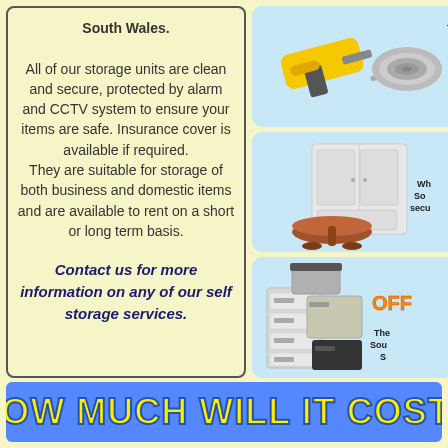South Wales.

All of our storage units are clean and secure, protected by alarm and CCTV system to ensure your items are safe. Insurance cover is available if required.
They are suitable for storage of both business and domestic items and are available to rent on a short or long term basis.
Contact us for more information on any of our self storage services.
[Figure (photo): Power tool (jigsaw) and a rolled carpet or grey tube on a light blue background]
[Figure (photo): White wardrobe/armoire and a round dark wood pedestal table on a light blue background, with partial text 'Wh... So... secu...']
[Figure (photo): Filing cabinet with storage boxes on top on a light blue background, with orange text 'OFF...' and black text 'The ... Sou... S...']
HOW MUCH WILL IT COST?